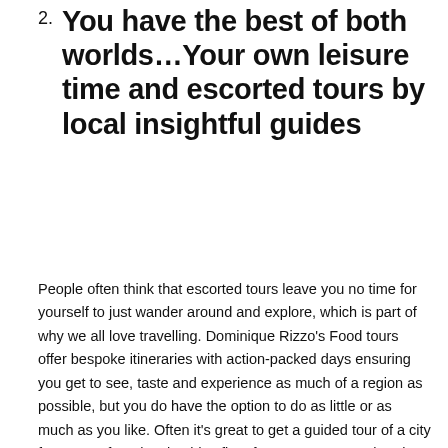2. You have the best of both worlds…Your own leisure time and escorted tours by local insightful guides
People often think that escorted tours leave you no time for yourself to just wander around and explore, which is part of why we all love travelling. Dominique Rizzo's Food tours offer bespoke itineraries with action-packed days ensuring you get to see, taste and experience as much of a region as possible, but you do have the option to do as little or as much as you like. Often it's great to get a guided tour of a city from one of our local guides first, for you to get your bearings of the city, understand the culture, history and the importance of